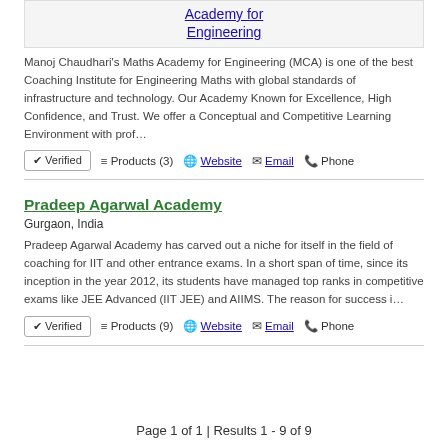Academy for Engineering
Manoj Chaudhari's Maths Academy for Engineering (MCA) is one of the best Coaching Institute for Engineering Maths with global standards of infrastructure and technology. Our Academy Known for Excellence, High Confidence, and Trust. We offer a Conceptual and Competitive Learning Environment with prof…
✔ Verified  ≡ Products (3)  🌐 Website  ✉ Email  📞 Phone
Pradeep Agarwal Academy
Gurgaon, India
Pradeep Agarwal Academy has carved out a niche for itself in the field of coaching for IIT and other entrance exams. In a short span of time, since its inception in the year 2012, its students have managed top ranks in competitive exams like JEE Advanced (IIT JEE) and AIIMS. The reason for success i…
✔ Verified  ≡ Products (9)  🌐 Website  ✉ Email  📞 Phone
Page 1 of 1 | Results 1 - 9 of 9